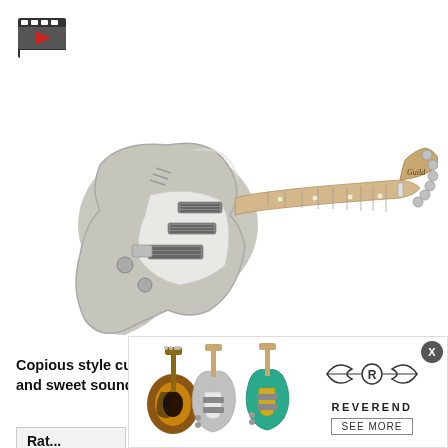[Figure (illustration): Video play button icon — film strip style with red play triangle in center]
[Figure (photo): Guild electric solidbody guitar in silver/grey finish with white pickguard, maple neck, three single-coil pickups, six tuning pegs on headstock]
Copious style cues and multitudinous tones yield big fun and sweet sounds in a post-modern solidbody scram...
Rat...
[Figure (illustration): Reverend guitars advertisement showing three guitars (sunburst, silver, teal) and the Reverend logo with SEE MORE button]